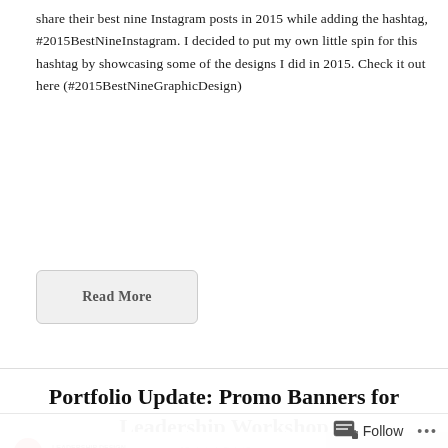share their best nine Instagram posts in 2015 while adding the hashtag, #2015BestNineInstagram. I decided to put my own little spin for this hashtag by showcasing some of the designs I did in 2015. Check it out here (#2015BestNineGraphicDesign)
Read More
Portfolio Update: Promo Banners for Leadership Workshop
[Figure (screenshot): Partial view of a promotional banner image with a red circle logo, 'Presents' text, and gray placeholder boxes]